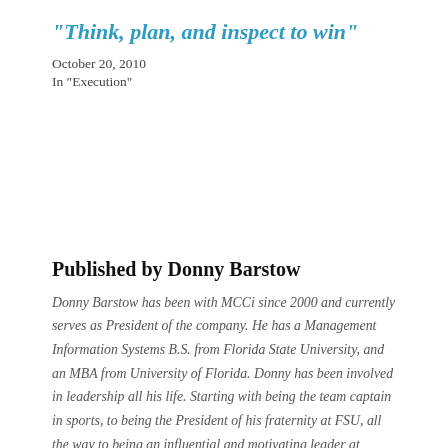“Think, plan, and inspect to win”
October 20, 2010
In "Execution"
Published by Donny Barstow
Donny Barstow has been with MCCi since 2000 and currently serves as President of the company. He has a Management Information Systems B.S. from Florida State University, and an MBA from University of Florida. Donny has been involved in leadership all his life. Starting with being the team captain in sports, to being the President of his fraternity at FSU, all the way to being an influential and motivating leader at MCCi. He is very active and dedicated to his leadership philosiphies. He